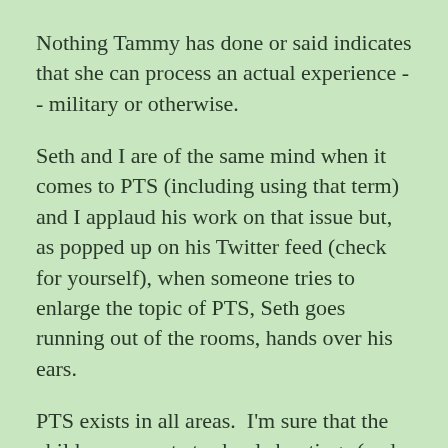Nothing Tammy has done or said indicates that she can process an actual experience -- military or otherwise.
Seth and I are of the same mind when it comes to PTS (including using that term) and I applaud his work on that issue but, as popped up on his Twitter feed (check for yourself), when someone tries to enlarge the topic of PTS, Seth goes running out of the rooms, hands over his ears.
PTS exists in all areas.  I'm sure that the children present at school shootings (and their parents) can suffer PTS just as rape survivors and others can.
But Seth cannot build on anything.  He wants to be president but even on the topic of PTS he shows his repeated inability to analyze and assess.  He's so big on PTS -- but just so long as it's about the military.  He had PTS and he can only relate to those who had PTS the way